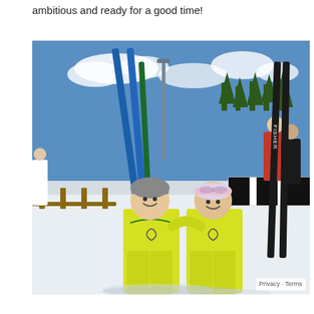ambitious and ready for a good time!
[Figure (photo): Two cross-country skiers in matching yellow racing suits posing together outdoors in snowy conditions. They are smiling and holding skis. One has a grey hat, the other a pink/white headband with goggles. Fisher skis are visible in the background along with other skiers and spectators.]